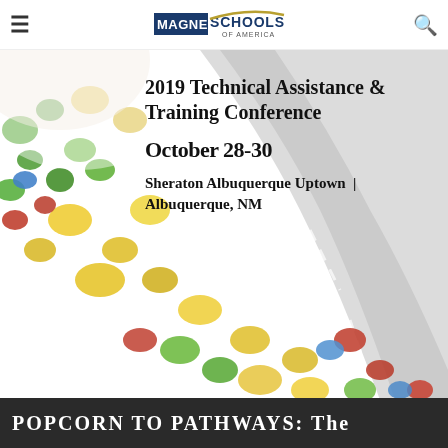Magnet Schools of America — Navigation bar with hamburger menu and search icon
[Figure (photo): Hero banner showing a bowl of colorful popcorn (green, yellow, red, blue pieces) spilling onto a road-themed background with grey road graphic swooping to the right]
2019 Technical Assistance & Training Conference
October 28-30
Sheraton Albuquerque Uptown | Albuquerque, NM
POPCORN TO PATHWAYS: The